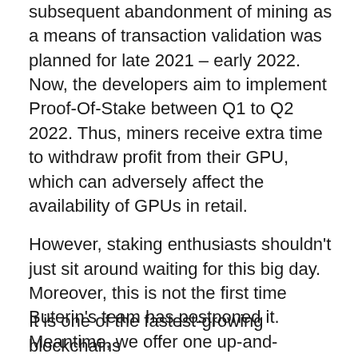subsequent abandonment of mining as a means of transaction validation was planned for late 2021 – early 2022. Now, the developers aim to implement Proof-Of-Stake between Q1 to Q2 2022. Thus, miners receive extra time to withdraw profit from their GPU, which can adversely affect the availability of GPUs in retail.
However, staking enthusiasts shouldn't just sit around waiting for this big day. Moreover, this is not the first time Buterin's team has postponed it. Meantime, we offer one up-and-coming project – Zilliqa.
5 BTC + 300 Free Spins for new players & 15 BTC + 35.000 Free Spins every month, only at mBitcasino. Play Now!
It is one of the fastest-growing blockchains